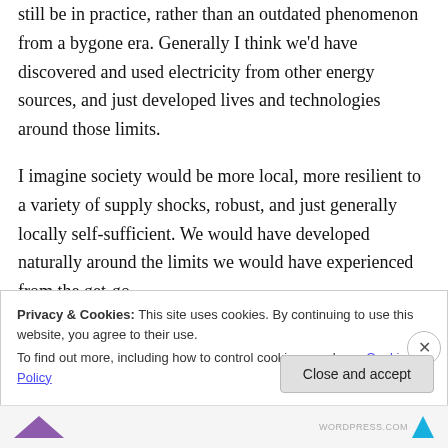still be in practice, rather than an outdated phenomenon from a bygone era. Generally I think we'd have discovered and used electricity from other energy sources, and just developed lives and technologies around those limits.
I imagine society would be more local, more resilient to a variety of supply shocks, robust, and just generally locally self-sufficient. We would have developed naturally around the limits we would have experienced from the get-go.
Privacy & Cookies: This site uses cookies. By continuing to use this website, you agree to their use.
To find out more, including how to control cookies, see here: Cookie Policy